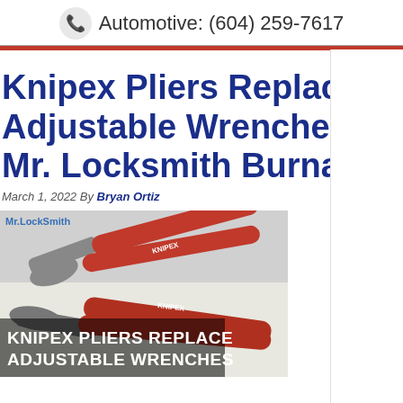Automotive: (604) 259-7617
Knipex Pliers Replace Adjustable Wrenches Mr. Locksmith Burnaby
March 1, 2022 By Bryan Ortiz
[Figure (photo): Two Knipex pliers with red handles and gray jaws on a white surface, with text overlay reading KNIPEX PLIERS REPLACE ADJUSTABLE WRENCHES and Mr.LockSmith watermark]